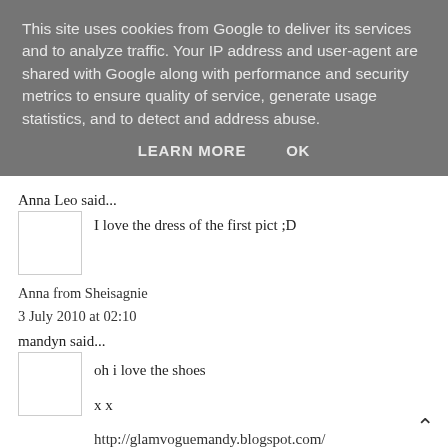This site uses cookies from Google to deliver its services and to analyze traffic. Your IP address and user-agent are shared with Google along with performance and security metrics to ensure quality of service, generate usage statistics, and to detect and address abuse.
LEARN MORE   OK
Anna Leo said...
I love the dress of the first pict ;D
Anna from Sheisagnie
3 July 2010 at 02:10
mandyn said...
oh i love the shoes
x x
http://glamvoguemandy.blogspot.com/
http://glamvoguemandy.blogspot.com/
http://glamvoguemandy.blogspot.com/
http://glamvoguemandy.blogspot.com/
http://glamvoguemandy.blogspot.com/